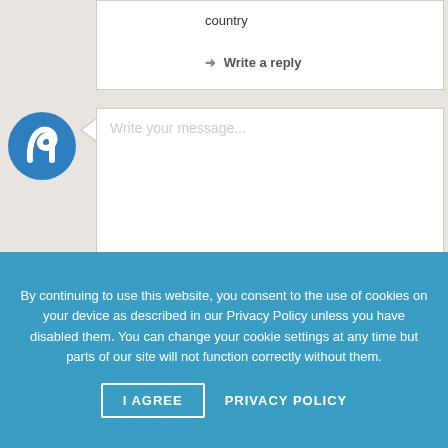country
→ Write a reply
[Figure (logo): Blue circular logo with stylized 'n' or swirl mark inside]
Write your message...
By continuing to use this website, you consent to the use of cookies on your device as described in our Privacy Policy unless you have disabled them. You can change your cookie settings at any time but parts of our site will not function correctly without them.
I AGREE
PRIVACY POLICY